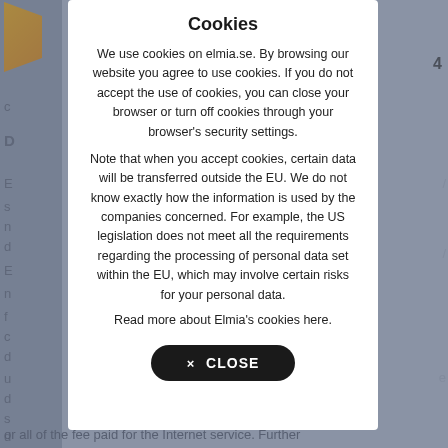Cookies
We use cookies on elmia.se. By browsing our website you agree to use cookies. If you do not accept the use of cookies, you can close your browser or turn off cookies through your browser's security settings.
Note that when you accept cookies, certain data will be transferred outside the EU. We do not know exactly how the information is used by the companies concerned. For example, the US legislation does not meet all the requirements regarding the processing of personal data set within the EU, which may involve certain risks for your personal data.
Read more about Elmia's cookies here.
× CLOSE
or all of the fee paid for the Internet service. Further